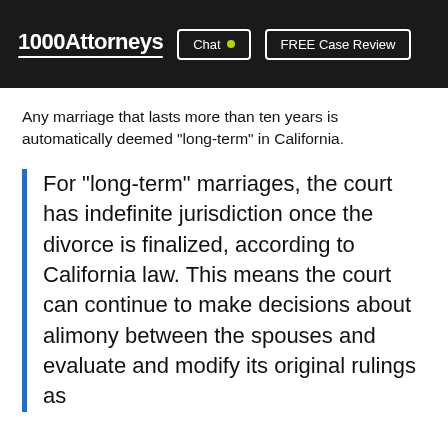1000Attorneys | Chat | FREE Case Review
Any marriage that lasts more than ten years is automatically deemed "long-term" in California.
For "long-term" marriages, the court has indefinite jurisdiction once the divorce is finalized, according to California law. This means the court can continue to make decisions about alimony between the spouses and evaluate and modify its original rulings as